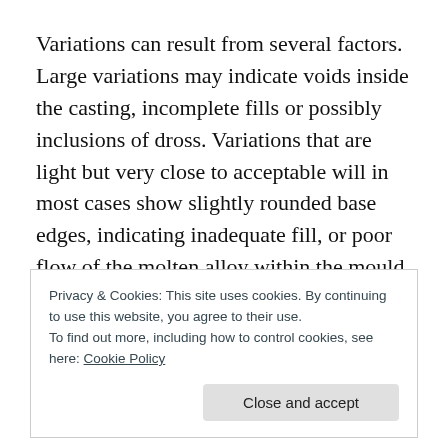Variations can result from several factors. Large variations may indicate voids inside the casting, incomplete fills or possibly inclusions of dross. Variations that are light but very close to acceptable will in most cases show slightly rounded base edges, indicating inadequate fill, or poor flow of the molten alloy within the mould.
As is the case with most of the surface anomalies, rounded bases can typically be attributed to too cool a
Privacy & Cookies: This site uses cookies. By continuing to use this website, you agree to their use.
To find out more, including how to control cookies, see here: Cookie Policy